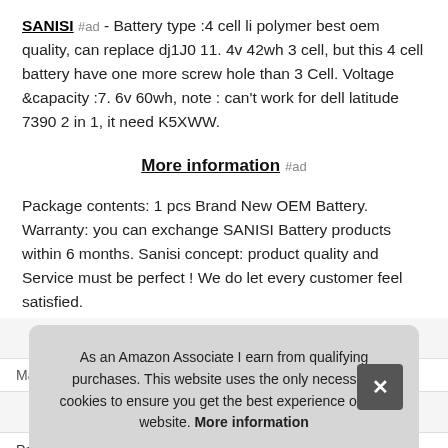SANISI #ad - Battery type :4 cell li polymer best oem quality, can replace dj1J0 11. 4v 42wh 3 cell, but this 4 cell battery have one more screw hole than 3 Cell. Voltage &capacity :7. 6v 60wh, note : can't work for dell latitude 7390 2 in 1, it need K5XWW.
More information #ad
Package contents: 1 pcs Brand New OEM Battery. Warranty: you can exchange SANISI Battery products within 6 months. Sanisi concept: product quality and Service must be perfect ! We do let every customer feel satisfied.
As an Amazon Associate I earn from qualifying purchases. This website uses the only necessary cookies to ensure you get the best experience on our website. More information
Part Number   ISON-V016-V2182